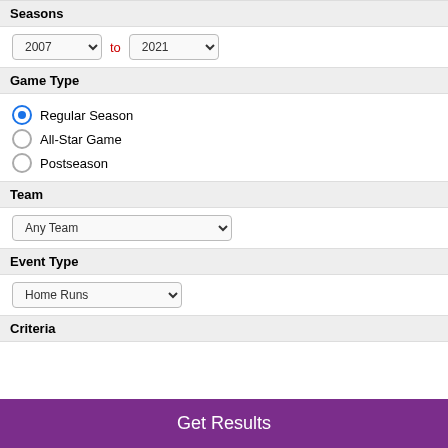Seasons
2007 to 2021
Game Type
Regular Season (selected)
All-Star Game
Postseason
Team
Any Team
Event Type
Home Runs
Criteria
Get Results